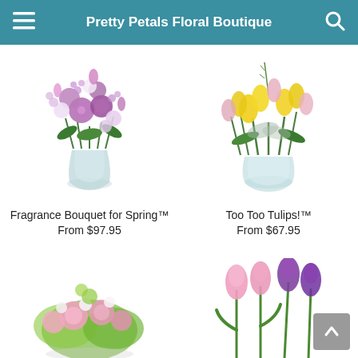Pretty Petals Floral Boutique
[Figure (photo): Fragrance Bouquet for Spring - purple and white flower arrangement in a glass vase]
[Figure (photo): Too Too Tulips! - yellow and pink tulips in a round glass vase]
Fragrance Bouquet for Spring™
From $97.95
Too Too Tulips!™
From $67.95
[Figure (photo): Pink and green flower bouquet partially visible at bottom left]
[Figure (photo): Pink and purple tulips partially visible at bottom right]